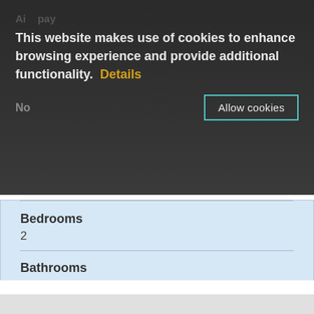This website makes use of cookies to enhance browsing experience and provide additional functionality.  Details
No
Allow cookies
Bedrooms
2
Bathrooms
1
Sleeps ?
4